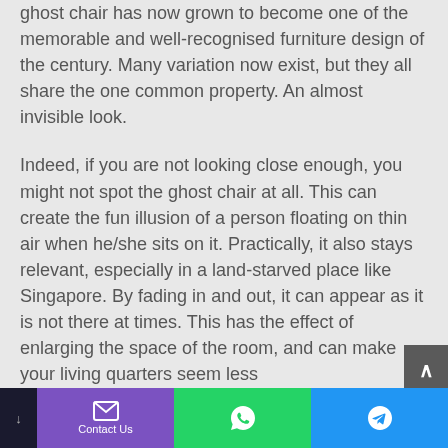ghost chair has now grown to become one of the memorable and well-recognised furniture design of the century. Many variation now exist, but they all share the one common property. An almost invisible look.
Indeed, if you are not looking close enough, you might not spot the ghost chair at all. This can create the fun illusion of a person floating on thin air when he/she sits on it. Practically, it also stays relevant, especially in a land-starved place like Singapore. By fading in and out, it can appear as it is not there at times. This has the effect of enlarging the space of the room, and can make your living quarters seem less
Contact Us